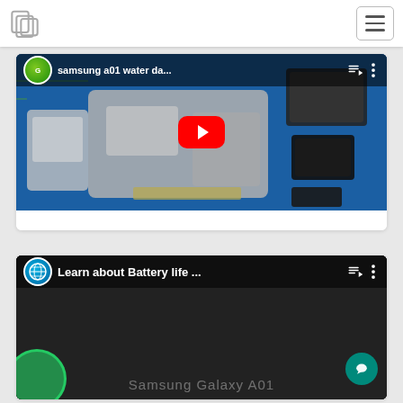Navigation bar with logo and hamburger menu
[Figure (screenshot): YouTube video thumbnail showing Samsung a01 motherboard/circuit board with title 'samsung a01 water da...' and a red YouTube play button overlay]
[Figure (screenshot): YouTube video thumbnail showing 'Learn about Battery life ...' with AT&T logo avatar, Samsung Galaxy A01 watermark text, and a teal chat button overlay]